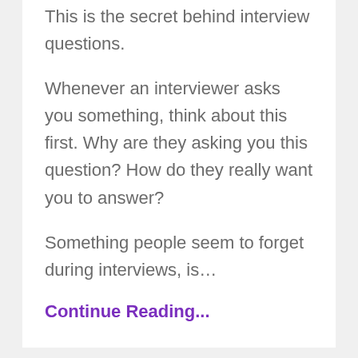This is the secret behind interview questions.
Whenever an interviewer asks you something, think about this first. Why are they asking you this question? How do they really want you to answer?
Something people seem to forget during interviews, is…
Continue Reading...
Ep.255: "How to Be a Grand Master